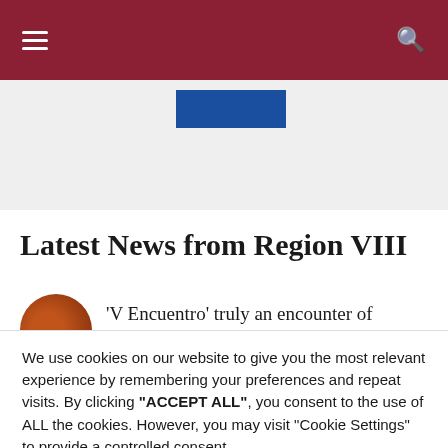[Figure (other): Dark red/maroon navigation header bar with hamburger menu icon on left and search icon on right]
[Figure (other): Light gray banner area with a blue rectangle button partially visible]
Latest News from Region VIII
'V Encuentro' truly an encounter of
We use cookies on our website to give you the most relevant experience by remembering your preferences and repeat visits. By clicking "ACCEPT ALL", you consent to the use of ALL the cookies. However, you may visit "Cookie Settings" to provide a controlled consent.
Cookie Settings   REJECT ALL   ACCEPT ALL